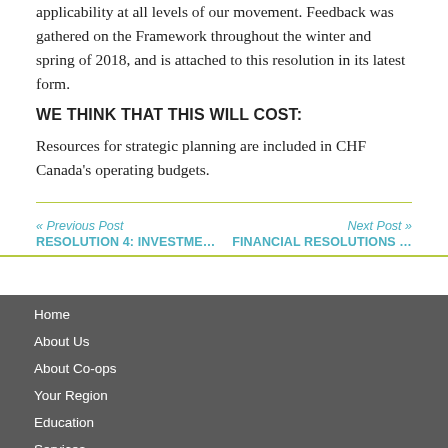applicability at all levels of our movement. Feedback was gathered on the Framework throughout the winter and spring of 2018, and is attached to this resolution in its latest form.
WE THINK THAT THIS WILL COST:
Resources for strategic planning are included in CHF Canada's operating budgets.
« Previous Post
RESOLUTION 4: INVESTME…
Next Post »
FINANCIAL RESOLUTIONS …
Home
About Us
About Co-ops
Your Region
Education
Services